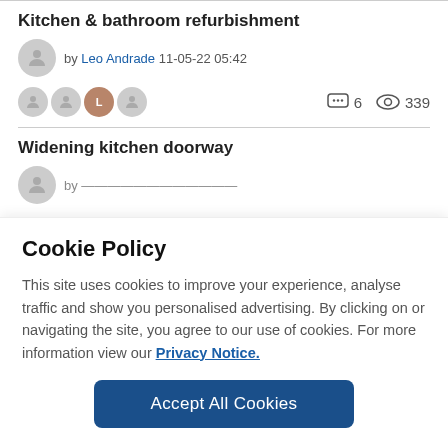Kitchen & bathroom refurbishment
by Leo Andrade 11-05-22 05:42
6 comments, 339 views
Widening kitchen doorway
Cookie Policy
This site uses cookies to improve your experience, analyse traffic and show you personalised advertising. By clicking on or navigating the site, you agree to our use of cookies. For more information view our Privacy Notice.
Accept All Cookies